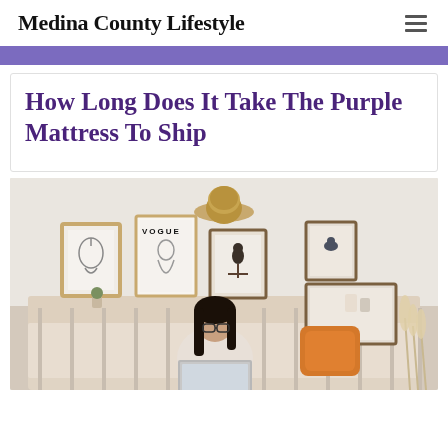Medina County Lifestyle
How Long Does It Take The Purple Mattress To Ship
[Figure (photo): A young woman with long dark hair and glasses sitting on a couch in a stylishly decorated room, working on a laptop. Behind her are framed art prints including a Vogue magazine cover poster, a line-drawing face portrait, and a bird photo. A straw hat is mounted on the wall. She has an orange pillow beside her and there are pampas grass decorations to the right.]